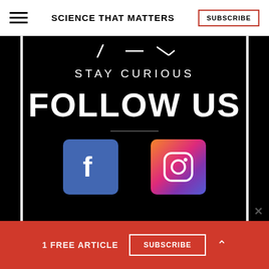SCIENCE THAT MATTERS
[Figure (infographic): Black banner with 'STAY CURIOUS / FOLLOW US' text, decorative lines at top, Facebook and Instagram social media icons on a black background with white vertical bars on sides]
STAY CURIOUS
FOLLOW US
[Figure (logo): Facebook logo icon - white letter f on blue rounded square background]
[Figure (logo): Instagram logo icon - camera outline on gradient purple-pink-orange rounded square background]
1 FREE ARTICLE
SUBSCRIBE